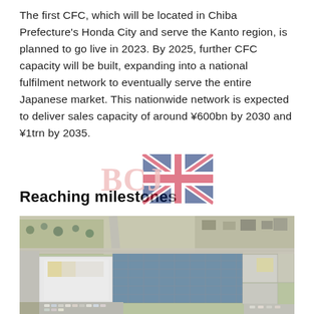The first CFC, which will be located in Chiba Prefecture's Honda City and serve the Kanto region, is planned to go live in 2023. By 2025, further CFC capacity will be built, expanding into a national fulfilment network to eventually serve the entire Japanese market. This nationwide network is expected to deliver sales capacity of around ¥600bn by 2030 and ¥1trn by 2035.
[Figure (logo): BCJ logo with Union Jack flag watermark]
Reaching milestones
[Figure (photo): Aerial photograph of a large warehouse/fulfilment centre facility surrounded by suburban area and roads]